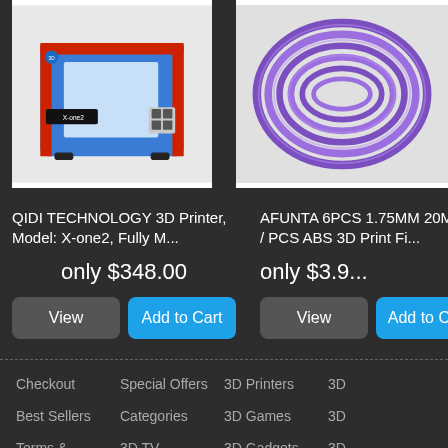[Figure (photo): QIDI TECHNOLOGY X-one2 3D printer, blue and red, shown from front angle]
QIDI TECHNOLOGY 3D Printer, Model: X-one2, Fully M...
only $348.00
View | Add to Cart
[Figure (photo): Purple ABS 3D printer filament coil/spool]
AFUNTA 6PCS 1.75MM 20M / 5 / PCS ABS 3D Print Fi...
only $3.9...
View | Add to Ca...
Checkout
Best Sellers
Terms & Conditions
Top 3D Electronics bestsellers
Special Offers
Categories
3D TV
3D Sound
3D Printers
3D Games
3D Gadgets
3D Glasses
3D
3D
3D
3D